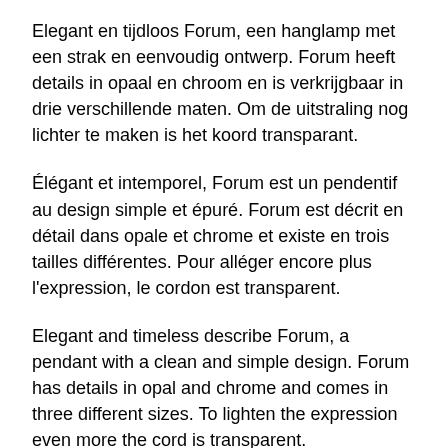Elegant en tijdloos Forum, een hanglamp met een strak en eenvoudig ontwerp. Forum heeft details in opaal en chroom en is verkrijgbaar in drie verschillende maten. Om de uitstraling nog lichter te maken is het koord transparant.
Élégant et intemporel, Forum est un pendentif au design simple et épuré. Forum est décrit en détail dans opale et chrome et existe en trois tailles différentes. Pour alléger encore plus l'expression, le cordon est transparent.
Elegant and timeless describe Forum, a pendant with a clean and simple design. Forum has details in opal and chrome and comes in three different sizes. To lighten the expression even more the cord is transparent.
Elegant und zeitlos beschreiben Forum, eine Pendelleuchte mit einem klaren und einfachen Design. Forum hat Details in opal und verchromt und ist in drei verschiedenen Größen erhältlich.